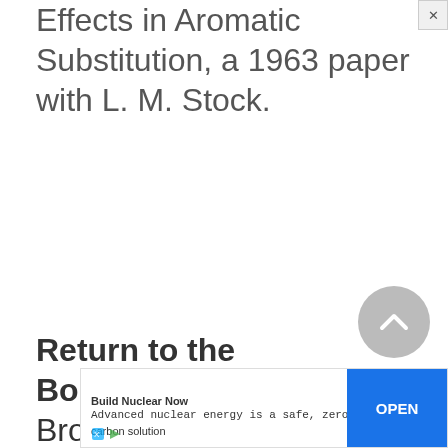Effects in Aromatic Substitution, a 1963 paper with L. M. Stock.
Return to the Boranes. In 1953, Brown published eleven articles describing…